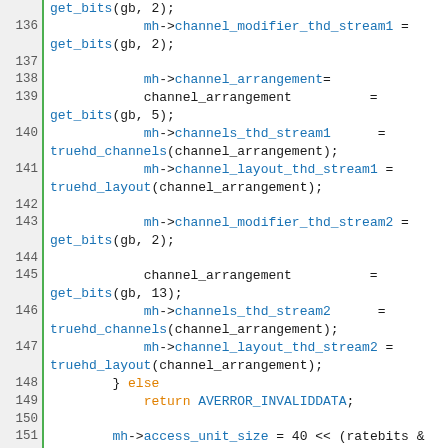[Figure (screenshot): Source code snippet in C, lines 136–158, showing MLP/TrueHD audio decoder channel configuration logic with syntax highlighting. Line numbers in left column, code in monospace font with blue keywords for identifiers/functions and orange for language keywords like else and return.]